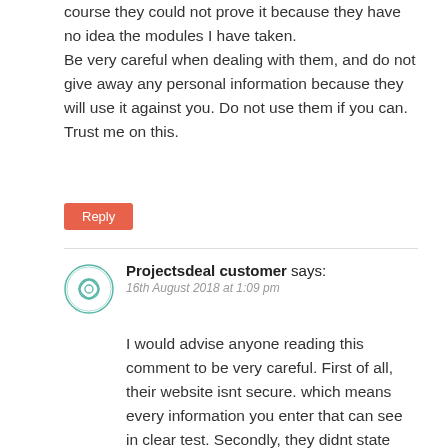course they could not prove it because they have no idea the modules I have taken. Be very careful when dealing with them, and do not give away any personal information because they will use it against you. Do not use them if you can. Trust me on this.
Reply
Projectsdeal customer says:
16th August 2018 at 1:09 pm
I would advise anyone reading this comment to be very careful. First of all, their website isnt secure. which means every information you enter that can see in clear test. Secondly, they didnt state their terms and conditions of service only after ordering do they send it to you. And a the refund policy is for the first 3 days can you imagine.